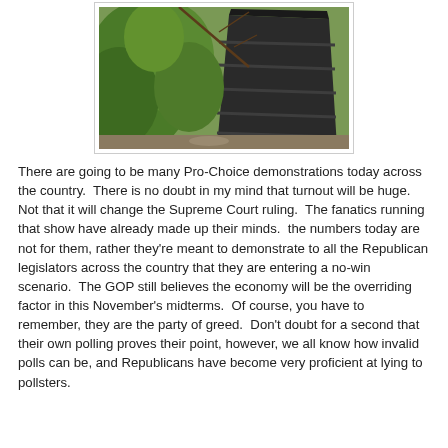[Figure (photo): A black plastic compost bin next to green leafy plants and a bare branch, photographed outdoors.]
There are going to be many Pro-Choice demonstrations today across the country.  There is no doubt in my mind that turnout will be huge.  Not that it will change the Supreme Court ruling.  The fanatics running that show have already made up their minds.  the numbers today are not for them, rather they're meant to demonstrate to all the Republican legislators across the country that they are entering a no-win scenario.  The GOP still believes the economy will be the overriding factor in this November's midterms.  Of course, you have to remember, they are the party of greed.  Don't doubt for a second that their own polling proves their point, however, we all know how invalid polls can be, and Republicans have become very proficient at lying to pollsters.